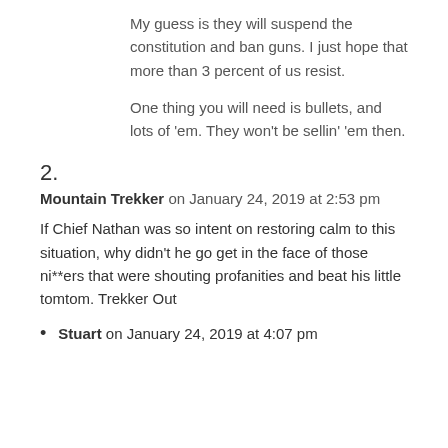My guess is they will suspend the constitution and ban guns. I just hope that more than 3 percent of us resist.
One thing you will need is bullets, and lots of 'em. They won't be sellin' 'em then.
2.
Mountain Trekker on January 24, 2019 at 2:53 pm
If Chief Nathan was so intent on restoring calm to this situation, why didn't he go get in the face of those ni**ers that were shouting profanities and beat his little tomtom. Trekker Out
Stuart on January 24, 2019 at 4:07 pm